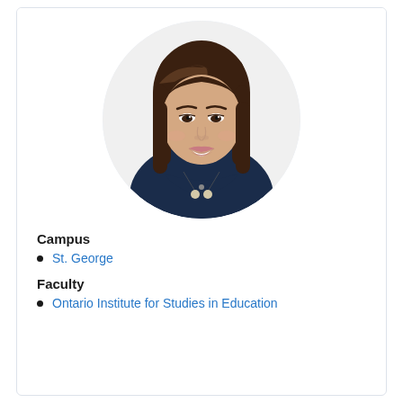[Figure (photo): Circular headshot photo of a smiling woman with straight dark brown shoulder-length hair, wearing a dark navy top with a beaded necklace, on a white background.]
Campus
St. George
Faculty
Ontario Institute for Studies in Education